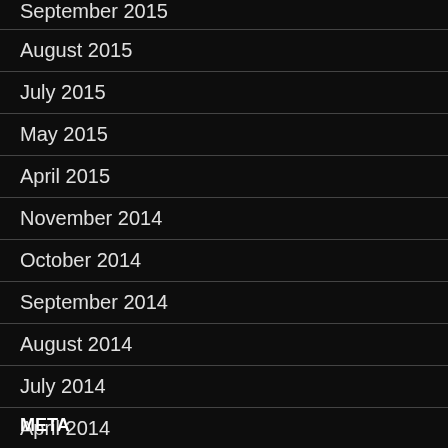September 2015
August 2015
July 2015
May 2015
April 2015
November 2014
October 2014
September 2014
August 2014
July 2014
April 2014
META